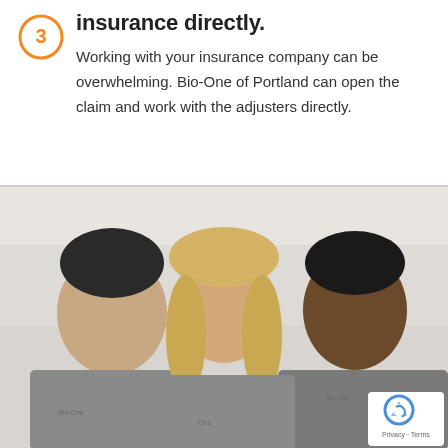We will work with your insurance directly.
Working with your insurance company can be overwhelming. Bio-One of Portland can open the claim and work with the adjusters directly.
[Figure (photo): Three smiling Bio-One employees in grey polo shirts standing together. Left: dark-haired man with beard. Center: blonde woman. Right: Black man.]